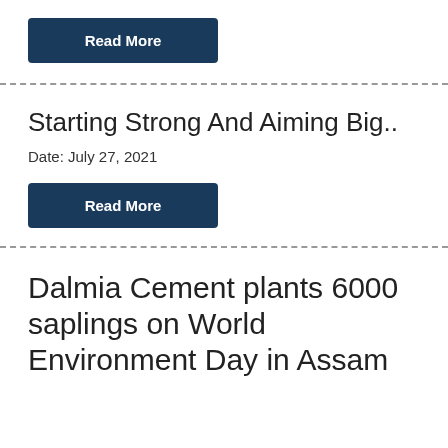Read More
Starting Strong And Aiming Big..
Date: July 27, 2021
Read More
Dalmia Cement plants 6000 saplings on World Environment Day in Assam